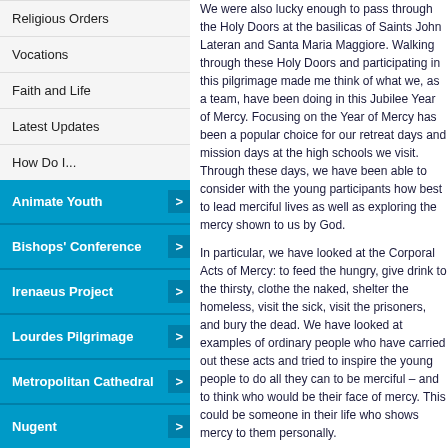Religious Orders
Vocations
Faith and Life
Latest Updates
How Do I...
Animate Youth
Bishops' Conference
Irenaeus Project
Lourdes Pilgrimage
Metropolitan Cathedral
Nugent
Our Pastoral Plan
Universal Synod 2023
We were also lucky enough to pass through the Holy Doors at the basilicas of Saints John Lateran and Santa Maria Maggiore. Walking through these Holy Doors and participating in this pilgrimage made me think of what we, as a team, have been doing in this Jubilee Year of Mercy. Focusing on the Year of Mercy has been a popular choice for our retreat days and mission days at the high schools we visit. Through these days, we have been able to consider with the young participants how best to lead merciful lives as well as exploring the mercy shown to us by God.
In particular, we have looked at the Corporal Acts of Mercy: to feed the hungry, give drink to the thirsty, clothe the naked, shelter the homeless, visit the sick, visit the prisoners, and bury the dead. We have looked at examples of ordinary people who have carried out these acts and tried to inspire the young people to do all they can to be merciful – and to think who would be their face of mercy. This could be someone in their life who shows mercy to them personally.
Throughout Lent, the team travelled to St John Bosco, Liverpool; St Bede's, Ormskirk; St Julie's, Liverpool; St Mary's, Chorley; Holy Cross, Chorley. At each school we laid on a Mission Day, provided pupils with the chance to receive the Sacrament of Penance, reflected on the mercy that God shows us and offered testimonies of faith. Over 1,200 confessions were heard in this time – who could ask for more?
Alongside our work with schools, we have been